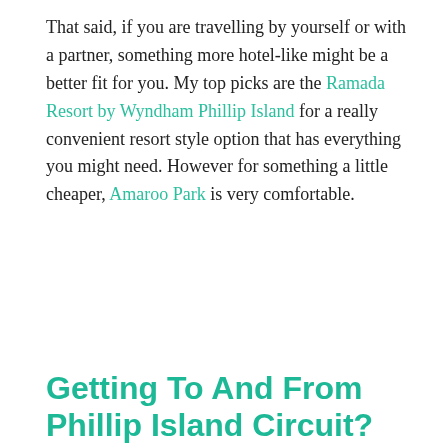That said, if you are travelling by yourself or with a partner, something more hotel-like might be a better fit for you. My top picks are the Ramada Resort by Wyndham Phillip Island for a really convenient resort style option that has everything you might need. However for something a little cheaper, Amaroo Park is very comfortable.
Getting To And From Phillip Island Circuit?
[Figure (photo): Exterior photograph of the Phillip Island Grand Prix Circuit facility building on a clear blue sky day, with MELBOURNE branding and GRAND PRIX CIRCUIT signage visible, flags, light poles, and grandstand structures in the foreground.]